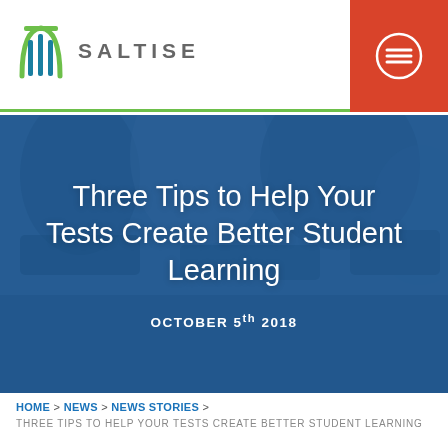[Figure (logo): SALTISE logo with stylized 'S' bridge/arch icon in teal and green, with text 'SALTISE' in gray]
[Figure (photo): Hero banner with blurred classroom background showing students, overlaid with blue tint. Contains article title and date.]
Three Tips to Help Your Tests Create Better Student Learning
OCTOBER 5th 2018
HOME > NEWS > NEWS STORIES >
THREE TIPS TO HELP YOUR TESTS CREATE BETTER STUDENT LEARNING